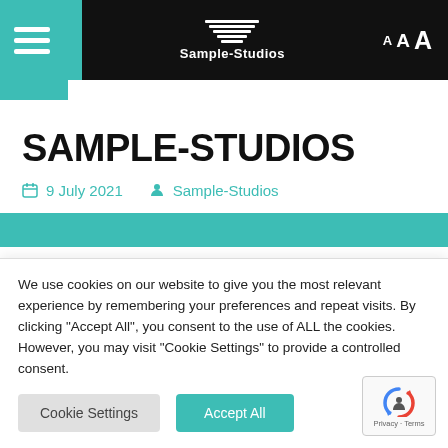Sample-Studios — navigation header with hamburger menu, logo, and font size controls A A A
SAMPLE-STUDIOS
9 July 2021   Sample-Studios
We use cookies on our website to give you the most relevant experience by remembering your preferences and repeat visits. By clicking "Accept All", you consent to the use of ALL the cookies. However, you may visit "Cookie Settings" to provide a controlled consent.